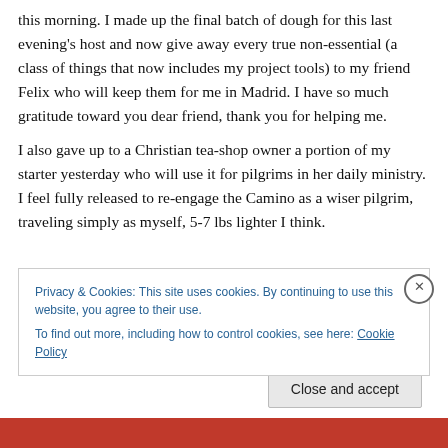this morning. I made up the final batch of dough for this last evening's host and now give away every true non-essential (a class of things that now includes my project tools) to my friend Felix who will keep them for me in Madrid. I have so much gratitude toward you dear friend, thank you for helping me.
I also gave up to a Christian tea-shop owner a portion of my starter yesterday who will use it for pilgrims in her daily ministry. I feel fully released to re-engage the Camino as a wiser pilgrim, traveling simply as myself, 5-7 lbs lighter I think.
Privacy & Cookies: This site uses cookies. By continuing to use this website, you agree to their use.
To find out more, including how to control cookies, see here: Cookie Policy
Close and accept